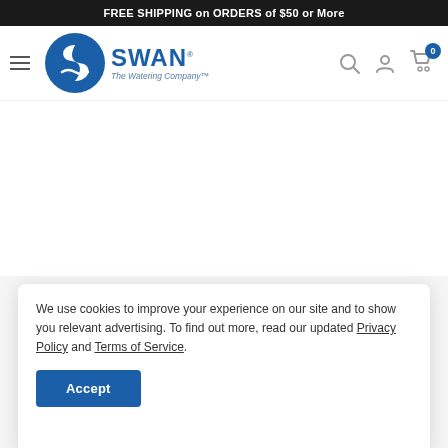FREE SHIPPING on ORDERS of $50 or More
[Figure (logo): Swan The Watering Company logo with blue circular emblem and text]
We use cookies to improve your experience on our site and to show you relevant advertising. To find out more, read our updated Privacy Policy and Terms of Service.
Accept